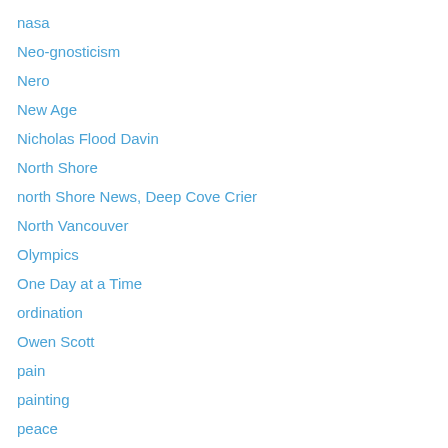nasa
Neo-gnosticism
Nero
New Age
Nicholas Flood Davin
North Shore
north Shore News, Deep Cove Crier
North Vancouver
Olympics
One Day at a Time
ordination
Owen Scott
pain
painting
peace
Pecos Higgins
penicillin
Perfect Storm
Perry Mason
Phil Gaglardi